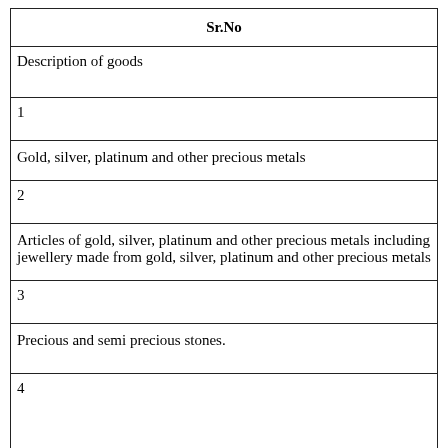| Sr.No |
| --- |
| Description of goods |
| 1 |
| Gold, silver, platinum and other precious metals |
| 2 |
| Articles of gold, silver, platinum and other precious metals including jewellery made from gold, silver, platinum and other precious metals |
| 3 |
| Precious and semi precious stones. |
| 4 |